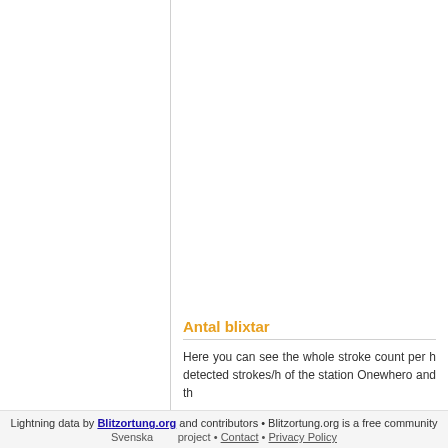Antal blixtar
Here you can see the whole stroke count per h detected strokes/h of the station Onewhero and th
Lightning data by Blitzortung.org and contributors • Blitzortung.org is a free community project • Contact • Privacy Policy
Svenska